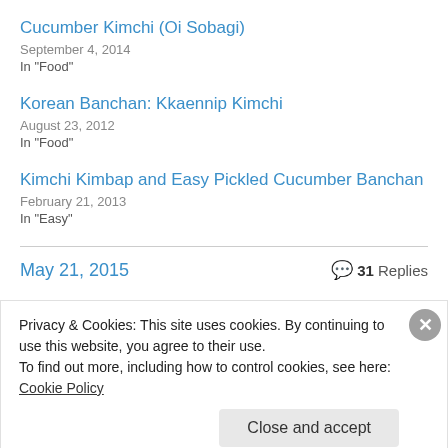Cucumber Kimchi (Oi Sobagi)
September 4, 2014
In "Food"
Korean Banchan: Kkaennip Kimchi
August 23, 2012
In "Food"
Kimchi Kimbap and Easy Pickled Cucumber Banchan
February 21, 2013
In "Easy"
May 21, 2015    💬 31 Replies
Privacy & Cookies: This site uses cookies. By continuing to use this website, you agree to their use.
To find out more, including how to control cookies, see here: Cookie Policy